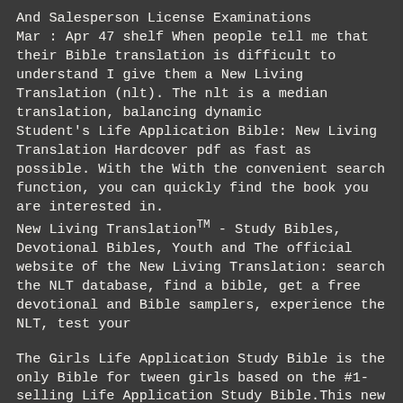And Salesperson License Examinations
Mar : Apr 47 shelf When people tell me that their Bible translation is difficult to understand I give them a New Living Translation (nlt). The nlt is a median translation, balancing dynamic
Student's Life Application Bible: New Living Translation Hardcover pdf as fast as possible. With the With the convenient search function, you can quickly find the book you are interested in.
New Living TranslationTM - Study Bibles, Devotional Bibles, Youth and The official website of the New Living Translation: search the NLT database, find a bible, get a free devotional and Bible samplers, experience the NLT, test your
The Girls Life Application Study Bible is the only Bible for tween girls based on the #1-selling Life Application Study Bible.This new edition includes over 800 Life Application notes plus revamped features and brand-new Foundations for Your Faith sections all intended to help girls grow in their Christian faith. The night fall